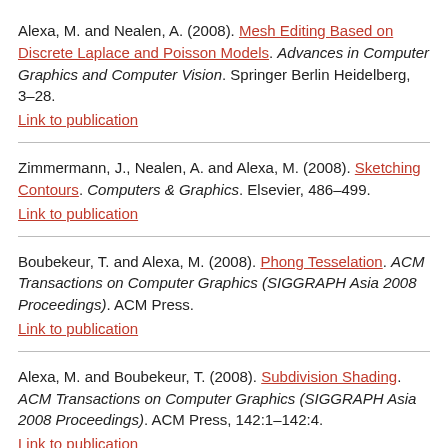Alexa, M. and Nealen, A. (2008). Mesh Editing Based on Discrete Laplace and Poisson Models. Advances in Computer Graphics and Computer Vision. Springer Berlin Heidelberg, 3–28.
Link to publication
Zimmermann, J., Nealen, A. and Alexa, M. (2008). Sketching Contours. Computers & Graphics. Elsevier, 486–499.
Link to publication
Boubekeur, T. and Alexa, M. (2008). Phong Tesselation. ACM Transactions on Computer Graphics (SIGGRAPH Asia 2008 Proceedings). ACM Press.
Link to publication
Alexa, M. and Boubekeur, T. (2008). Subdivision Shading. ACM Transactions on Computer Graphics (SIGGRAPH Asia 2008 Proceedings). ACM Press, 142:1–142:4.
Link to publication
2007